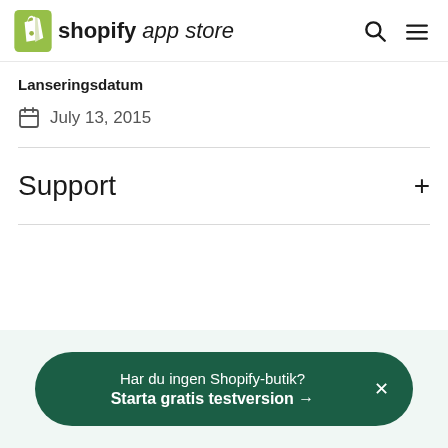shopify app store
Lanseringsdatum
July 13, 2015
Support
Har du ingen Shopify-butik? Starta gratis testversion →